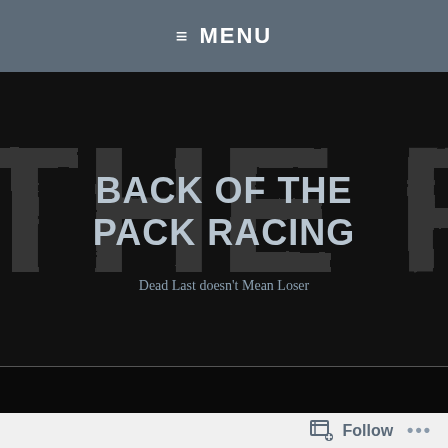≡ MENU
[Figure (illustration): Hero banner for 'Back of the Pack Racing' website. Dark black background with large distressed/grunge-style watermark text reading 'THE PAC' visible behind the main text. Centered bold light-grey title reads 'BACK OF THE PACK RACING'. Below it in smaller italic text: 'Dead Last doesn't Mean Loser'.]
BACK OF THE PACK RACING
Dead Last doesn't Mean Loser
Follow  •••